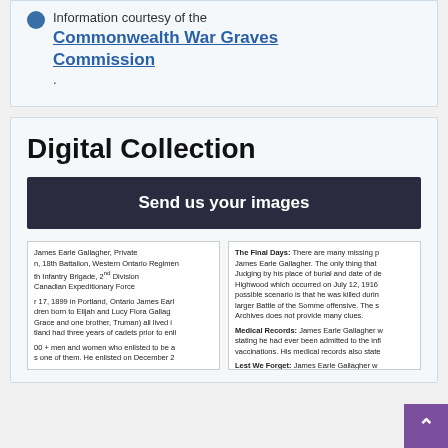Information courtesy of the Commonwealth War Graves Commission.
Digital Collection
Send us your images
[Figure (screenshot): Two side-by-side document screenshots showing text about James Earle Gallagher including personal details, military service, Final Days, Medical Records, and Lest We Forget sections.]